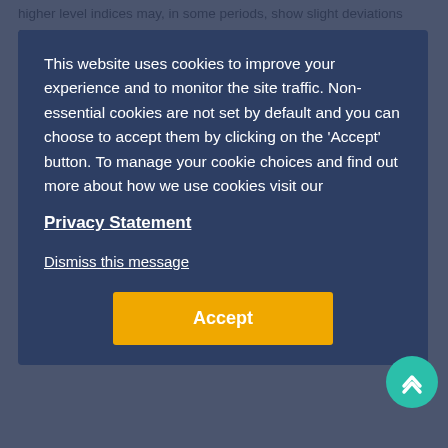higher level indices may, in some periods, show slight deviations from their published constituent sub-indices.
Geographic Split
This methodology is applied across all residential areas. Statistical details including and excluding Dublin are provided as an alternative breakdown of these areas. In addition, the data is further broken down to the Dail constituency level, with approximately 40 questionnaire-Dublin areas within. The volume of data (less than 10 individual transactions) is not sufficient to provide the same breakdown.
Regional data is provided for seven regions outside of Dublin: Border (including ...), Midland, Mid-West, Mid-East (including ...), West (including South Tipperary), South-East (excluding South Tipperary) and South-West. The volume of apartments transacted outside of Dublin by county vicinity is also broken down.
This website uses cookies to improve your experience and to monitor the site traffic. Non-essential cookies are not set by default and you can choose to accept them by clicking on the 'Accept' button. To manage your cookie choices and find out more about how we use cookies visit our
Privacy Statement
Dismiss this message
Accept